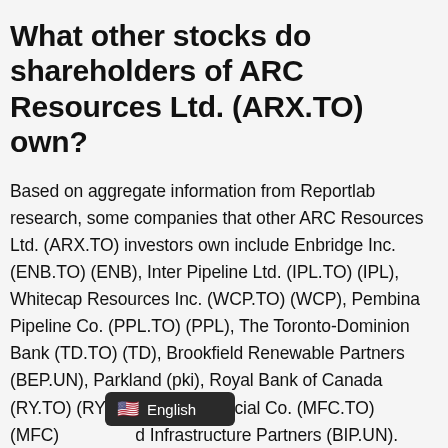What other stocks do shareholders of ARC Resources Ltd. (ARX.TO) own?
Based on aggregate information from Reportlab research, some companies that other ARC Resources Ltd. (ARX.TO) investors own include Enbridge Inc. (ENB.TO) (ENB), Inter Pipeline Ltd. (IPL.TO) (IPL), Whitecap Resources Inc. (WCP.TO) (WCP), Pembina Pipeline Co. (PPL.TO) (PPL), The Toronto-Dominion Bank (TD.TO) (TD), Brookfield Renewable Partners (BEP.UN), Parkland (pki), Royal Bank of Canada (RY.TO) (RY), Manulife Financial Co. (MFC.TO) (MFC) and Infrastructure Partners (BIP.UN).